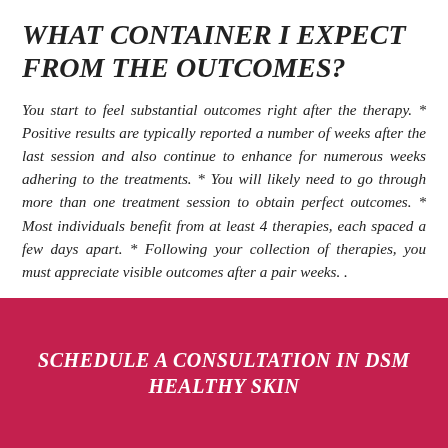WHAT CONTAINER I EXPECT FROM THE OUTCOMES?
You start to feel substantial outcomes right after the therapy. * Positive results are typically reported a number of weeks after the last session and also continue to enhance for numerous weeks adhering to the treatments. * You will likely need to go through more than one treatment session to obtain perfect outcomes. * Most individuals benefit from at least 4 therapies, each spaced a few days apart. * Following your collection of therapies, you must appreciate visible outcomes after a pair weeks. .
SCHEDULE A CONSULTATION IN DSM HEALTHY SKIN